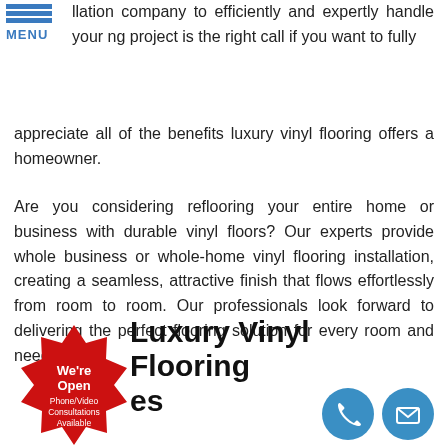llation company to efficiently and expertly handle your ng project is the right call if you want to fully appreciate all of the benefits luxury vinyl flooring offers a homeowner.
Are you considering reflooring your entire home or business with durable vinyl floors? Our experts provide whole business or whole-home vinyl flooring installation, creating a seamless, attractive finish that flows effortlessly from room to room. Our professionals look forward to delivering the perfect flooring solution for every room and need.
Call Bay Area Custom Floors Inc. at (925) 269-9964 for a Free Consultation & Estimate!
Luxury Vinyl Flooring es
[Figure (infographic): Red starburst badge with text: We're Open Phone/Video Consultations Available]
[Figure (infographic): Teal circle icon with phone handset symbol]
[Figure (infographic): Teal circle icon with envelope/email symbol]